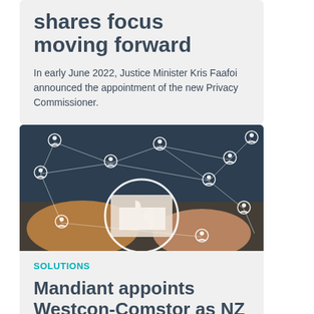shares focus moving forward
In early June 2022, Justice Minister Kris Faafoi announced the appointment of the new Privacy Commissioner.
[Figure (photo): Two hands holding puzzle pieces together, overlaid with a digital network graph of connected user icons on a dark background.]
SOLUTIONS
Mandiant appoints Westcon-Comstor as NZ distributor